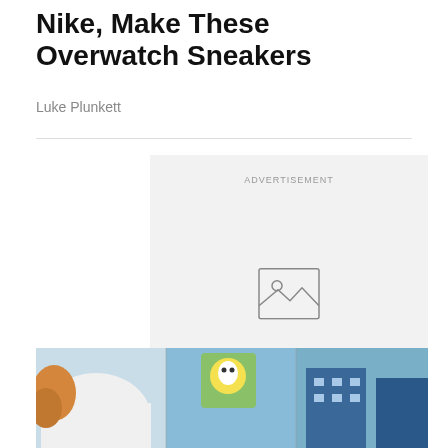Nike, Make These Overwatch Sneakers
Luke Plunkett
[Figure (other): Advertisement placeholder with image icon]
[Figure (photo): Overwatch game scene showing colorful city street with buildings and animated characters]